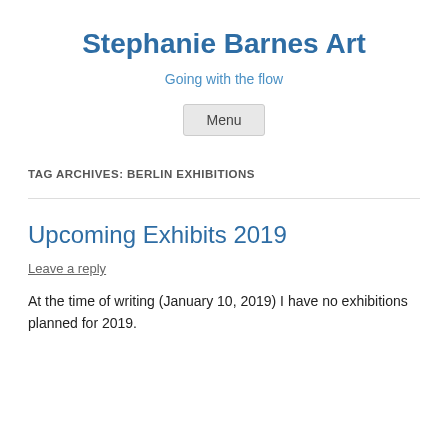Stephanie Barnes Art
Going with the flow
Menu
TAG ARCHIVES: BERLIN EXHIBITIONS
Upcoming Exhibits 2019
Leave a reply
At the time of writing (January 10, 2019) I have no exhibitions planned for 2019.